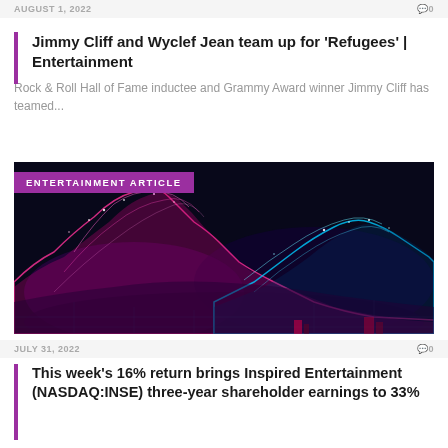AUGUST 1, 2022   0
Jimmy Cliff and Wyclef Jean team up for 'Refugees' | Entertainment
Rock & Roll Hall of Fame inductee and Grammy Award winner Jimmy Cliff has teamed...
[Figure (photo): Abstract colorful neon wireframe wave landscape visualization on dark background, with pink and blue glowing mesh mountains. Overlay label: ENTERTAINMENT ARTICLE]
JULY 31, 2022   0
This week's 16% return brings Inspired Entertainment (NASDAQ:INSE) three-year shareholder earnings to 33%